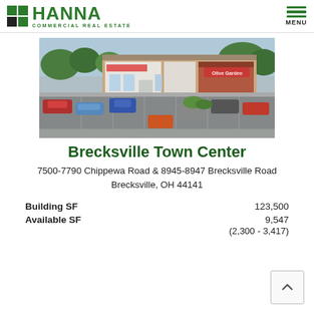[Figure (logo): Hanna Commercial Real Estate logo with green grid icon and green text]
[Figure (photo): Aerial/elevated view of Brecksville Town Center shopping center with parking lot, strip retail storefronts including an Olive Garden restaurant]
Brecksville Town Center
7500-7790 Chippewa Road & 8945-8947 Brecksville Road
Brecksville, OH 44141
| Field | Value |
| --- | --- |
| Building SF | 123,500 |
| Available SF | 9,547 |
|  | (2,300 - 3,417) |